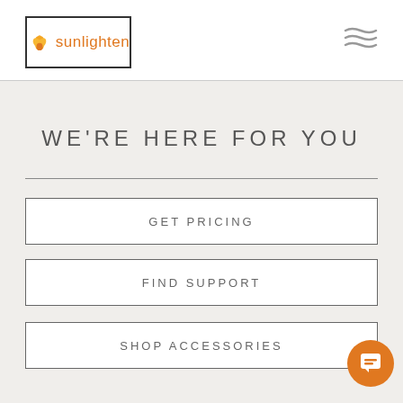[Figure (logo): Sunlighten company logo with orange lotus flower and orange text 'sunlighten' inside a bordered rectangle]
[Figure (other): Three wavy horizontal lines icon (hamburger/menu icon) in gray]
WE'RE HERE FOR YOU
GET PRICING
FIND SUPPORT
SHOP ACCESSORIES
[Figure (other): Orange circular chat/message icon button in bottom right corner]